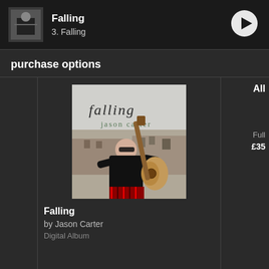Falling / 3. Falling
purchase options
[Figure (photo): Album cover for 'Falling' by Jason Carter: man with guitar wearing sunglasses and a tartan kilt, standing on a rooftop with European buildings in the background. Text on cover reads 'falling' and 'jason carter'.]
Falling
by Jason Carter
Digital Album
All
Full
£35